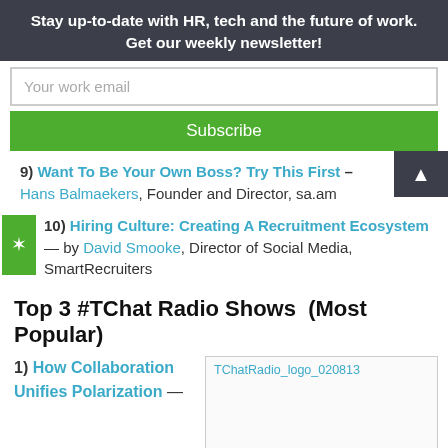Stay up-to-date with HR, tech and the future of work. Get our weekly newsletter!
Your work email
Subscribe
9) Want To Be Your Own Boss? Try This First – Hans Balmaekers, Founder and Director, sa.am
10) Hiring Culture: Creating A Recruitment Ecosystem — by David Smooke, Director of Social Media, SmartRecruiters
Top 3 #TChat Radio Shows  (Most Popular)
1) How Collaboration Unifies Polarization —
[Figure (logo): TChatRadio logo image placeholder with alt text TChatRadio_logo_020813]